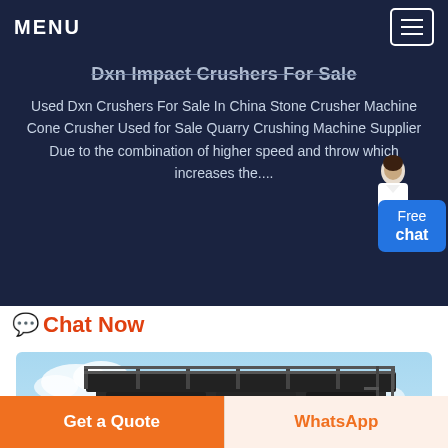MENU
Dxn Impact Crushers For Sale
Used Dxn Crushers For Sale In China Stone Crusher Machine Cone Crusher Used for Sale Quarry Crushing Machine Supplier Due to the combination of higher speed and throw which increases the....
Chat Now
[Figure (photo): Industrial impact crusher machine photographed from below against a clear blue sky, showing large black metal structure with railings and mechanical components.]
Get a Quote
WhatsApp